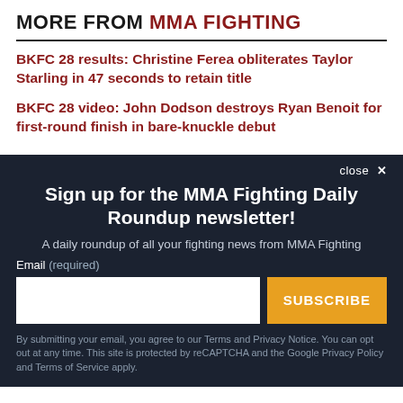MORE FROM MMA FIGHTING
BKFC 28 results: Christine Ferea obliterates Taylor Starling in 47 seconds to retain title
BKFC 28 video: John Dodson destroys Ryan Benoit for first-round finish in bare-knuckle debut
Sign up for the MMA Fighting Daily Roundup newsletter!
A daily roundup of all your fighting news from MMA Fighting
Email (required)
SUBSCRIBE
By submitting your email, you agree to our Terms and Privacy Notice. You can opt out at any time. This site is protected by reCAPTCHA and the Google Privacy Policy and Terms of Service apply.